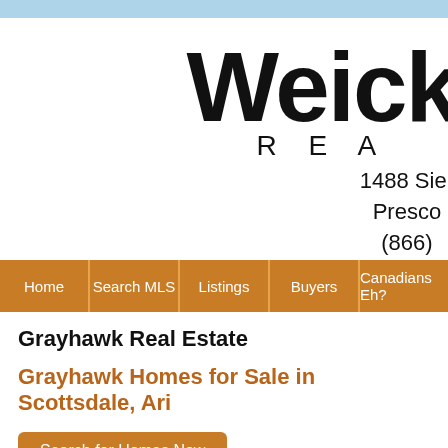[Figure (logo): Weichert Realtors logo — large bold 'Weich' text (partially cropped) with 'REA' in spaced capitals below]
1488 Sier
Presco
(866)
[Figure (screenshot): Navigation bar with orange buttons: Home | Search MLS | Listings | Buyers | Canadians Eh?]
Grayhawk Real Estate
Grayhawk Homes for Sale in Scottsdale, Ari
Search for Homes Now